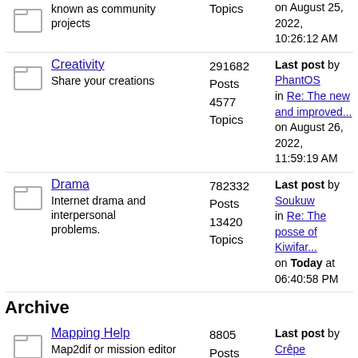known as community projects
Creativity - Share your creations - 291682 Posts 4577 Topics - Last post by PhantOS in Re: The new and improved... on August 26, 2022, 11:59:19 AM
Drama - Internet drama and interpersonal problems. - 782332 Posts 13420 Topics - Last post by Soukuw in Re: The posse of Kiwifar... on Today at 06:40:58 PM
Archive
Mapping Help - Map2dif or mission editor problems? Ask here. - 8805 Posts 1215 Topics - Last post by Crêpe in Re: Slate Map Tutorial {... on August 10, 2012, 02:47:55 AM
Maps - Post FINISHED Maps Here - 19530 Posts 336 Topics - Last post by Crêpe in Re: Alaska (day/night) on August 10, 2012, 02:58:53 AM
Last post by Frequency